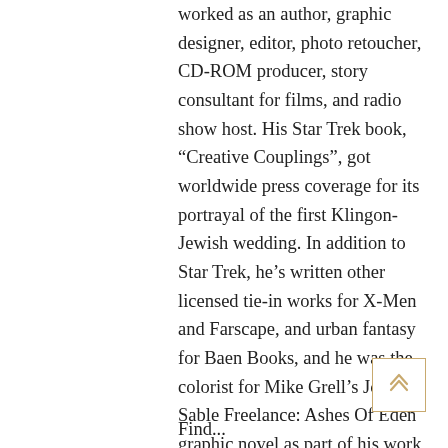worked as an author, graphic designer, editor, photo retoucher, CD-ROM producer, story consultant for films, and radio show host. His Star Trek book, “Creative Couplings”, got worldwide press coverage for its portrayal of the first Klingon-Jewish wedding. In addition to Star Trek, he's written other licensed tie-in works for X-Men and Farscape, and urban fantasy for Baen Books, and he was the colorist for Mike Grell’s Jon Sable Freelance: Ashes Of Eden graphic novel as part of his work for ComicMix (http://www.comicmix.com). His most fun work is with ComicMix Pro Services, where he says “anything that a comic creator doesn’t want to deal with, or know how to do… we do. We provide everything you need to make your comics great.”
Find...